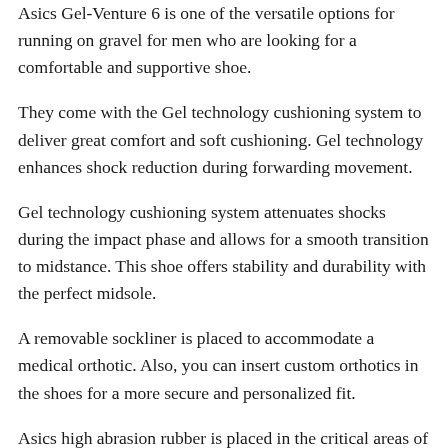Asics Gel-Venture 6 is one of the versatile options for running on gravel for men who are looking for a comfortable and supportive shoe.
They come with the Gel technology cushioning system to deliver great comfort and soft cushioning. Gel technology enhances shock reduction during forwarding movement.
Gel technology cushioning system attenuates shocks during the impact phase and allows for a smooth transition to midstance. This shoe offers stability and durability with the perfect midsole.
A removable sockliner is placed to accommodate a medical orthotic. Also, you can insert custom orthotics in the shoes for a more secure and personalized fit.
Asics high abrasion rubber is placed in the critical areas of the outsole for exceptional grip, durability, and traction on the